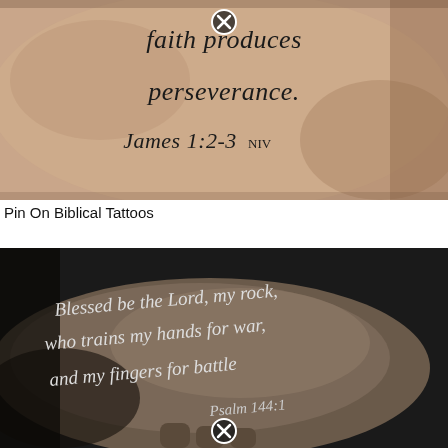[Figure (photo): Close-up photo of a tattoo on skin showing the text 'faith produces perseverance. James 1:2-3 NIV' in serif italic font, with a close/X button overlay at top center.]
Pin On Biblical Tattoos
[Figure (photo): Photo of a tattoo on an arm in cursive/script font reading 'Blessed be the Lord, my rock, who trains my hands for war, and my fingers for battle Psalm 144:1' with a close/X button overlay at bottom center.]